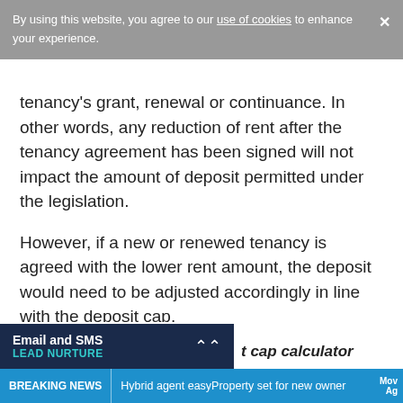By using this website, you agree to our use of cookies to enhance your experience.
tenancy’s grant, renewal or continuance. In other words, any reduction of rent after the tenancy agreement has been signed will not impact the amount of deposit permitted under the legislation.
However, if a new or renewed tenancy is agreed with the lower rent amount, the deposit would need to be adjusted accordingly in line with the deposit cap.
[Figure (other): Email and SMS Lead Nurture promotional banner with chevron arrow]
t cap calculator
BREAKING NEWS | Hybrid agent easyProperty set for new owner Mov...